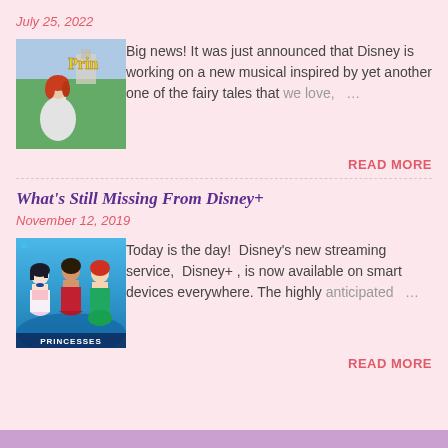July 25, 2022
[Figure (illustration): Princess character with red hair in white dress, game art background with 'Prin' text visible]
Big news! It was just announced that Disney is working on a new musical inspired by yet another one of the fairy tales that we love, …
READ MORE
What's Still Missing From Disney+
November 12, 2019
[Figure (illustration): Disney Princesses illustration showing Snow White, another princess, and Ariel with 'PRINCESSES' text]
Today is the day!  Disney's new streaming service,  Disney+ , is now available on smart devices everywhere. The highly anticipated …
READ MORE